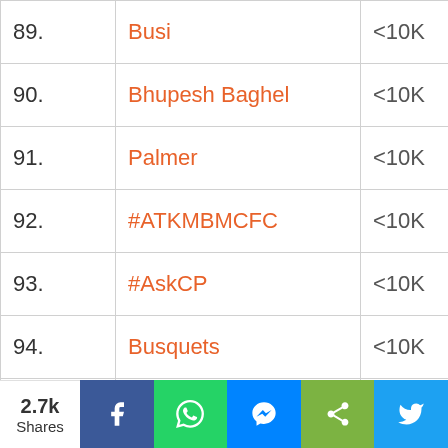| # | Term | Count |
| --- | --- | --- |
| 89. | Busi | <10K |
| 90. | Bhupesh Baghel | <10K |
| 91. | Palmer | <10K |
| 92. | #ATKMBMCFC | <10K |
| 93. | #AskCP | <10K |
| 94. | Busquets | <10K |
| 95. | PMLA | <10K |
| 96. | #AsiaCup | <10K |
| 97. | #ShivrajHaiTohVis... | <10K |